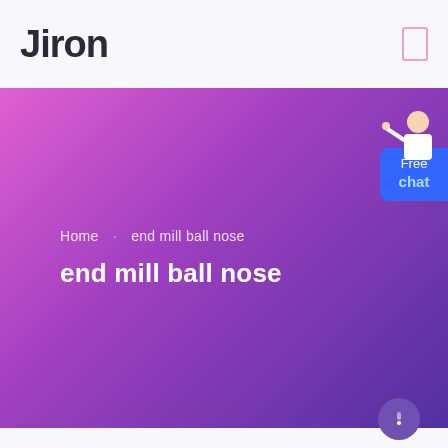Jiron
[Figure (screenshot): Hero banner with pink to purple gradient background showing breadcrumb navigation 'Home · end mill ball nose' and bold title 'end mill ball nose', with a 'Free chat' badge on the right side and a customer service representative figure]
Home · end mill ball nose
end mill ball nose